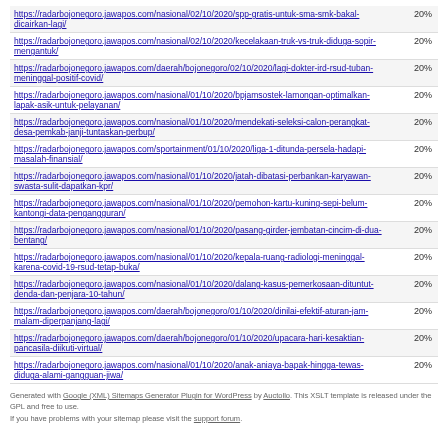| URL | Priority |
| --- | --- |
| https://radarbojonegoro.jawapos.com/nasional/02/10/2020/spp-gratis-untuk-sma-smk-bakal-dicairkan-lagi/ | 20% |
| https://radarbojonegoro.jawapos.com/nasional/02/10/2020/kecelakaan-truk-vs-truk-diduga-sopir-mengantuk/ | 20% |
| https://radarbojonegoro.jawapos.com/daerah/bojonegoro/02/10/2020/lagi-dokter-ird-rsud-tuban-meninggal-positif-covid/ | 20% |
| https://radarbojonegoro.jawapos.com/nasional/01/10/2020/bpjamsostek-lamongan-optimalkan-lapak-asik-untuk-pelayanan/ | 20% |
| https://radarbojonegoro.jawapos.com/nasional/01/10/2020/mendekati-seleksi-calon-perangkat-desa-pemkab-janji-tuntaskan-perbup/ | 20% |
| https://radarbojonegoro.jawapos.com/sportainment/01/10/2020/liga-1-ditunda-persela-hadapi-masalah-finansial/ | 20% |
| https://radarbojonegoro.jawapos.com/nasional/01/10/2020/jatah-dibatasi-perbankan-karyawan-swasta-sulit-dapatkan-kpr/ | 20% |
| https://radarbojonegoro.jawapos.com/nasional/01/10/2020/pemohon-kartu-kuning-sepi-belum-kantongi-data-pengangguran/ | 20% |
| https://radarbojonegoro.jawapos.com/nasional/01/10/2020/pasang-girder-jembatan-cincim-di-dua-bentang/ | 20% |
| https://radarbojonegoro.jawapos.com/nasional/01/10/2020/kepala-ruang-radiologi-meninggal-karena-covid-19-rsud-tetap-buka/ | 20% |
| https://radarbojonegoro.jawapos.com/nasional/01/10/2020/dalang-kasus-pemerkosaan-dituntut-denda-dan-penjara-10-tahun/ | 20% |
| https://radarbojonegoro.jawapos.com/daerah/bojonegoro/01/10/2020/dinilai-efektif-aturan-jam-malam-diperpanjang-lagi/ | 20% |
| https://radarbojonegoro.jawapos.com/daerah/bojonegoro/01/10/2020/upacara-hari-kesaktian-pancasila-diikuti-virtual/ | 20% |
| https://radarbojonegoro.jawapos.com/nasional/01/10/2020/anak-aniaya-bapak-hingga-tewas-diduga-alami-gangguan-jiwa/ | 20% |
Generated with Google (XML) Sitemaps Generator Plugin for WordPress by Auctollo. This XSLT template is released under the GPL and free to use.
If you have problems with your sitemap please visit the support forum.